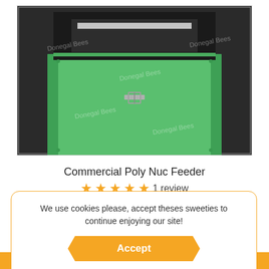[Figure (photo): Photo of a green Commercial Poly Nuc Feeder box, open top showing dark interior, metal latch on front, with 'Donegal Bees' watermark repeated across image.]
Commercial Poly Nuc Feeder
★★★★★ 1 review
We use cookies please, accept theses sweeties to continue enjoying our site!
Accept
Decline